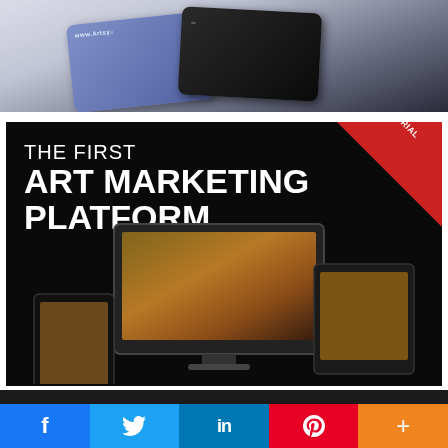[Figure (photo): Photo of business cards, one blue/purple and one dark/black, with text 'www.Artsy...' visible, shown at an angle]
[Figure (infographic): Black advertisement banner reading 'THE FIRST ART MARKETING PLATFORM' with a red triangle badge in the top-right corner saying '30 DAY FREE TRIAL', and device mockups (desktop monitor, tablet, phone) showing an art website below the text]
We use cookies to ensure that we give you the best experience on our website. If you continue to use this site we will assume that you are happy with it.
[Figure (infographic): Social media share bar with Facebook (blue), Twitter (light blue), LinkedIn (dark blue), Pinterest (red), and More/Plus (orange) buttons]